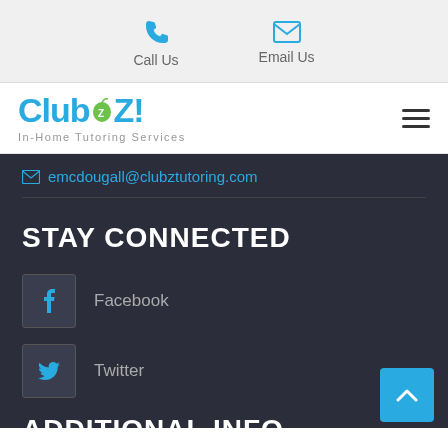Call Us   Email Us
[Figure (logo): Club Z! In-Home Tutoring Services logo with blue text and green apple graphic]
emcdougall@clubztutoring.com
STAY CONNECTED
Facebook
Twitter
ADDITIONAL INFO